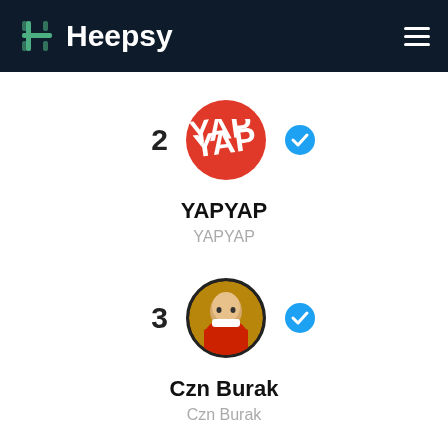Heepsy
[Figure (screenshot): Heepsy influencer ranking page showing rank 2 YAPYAP and rank 3 Czn Burak with verified badges]
2
YAPYAP (display name)
YAPYAP (username)
3
Czn Burak (display name)
Czn Burak (username)